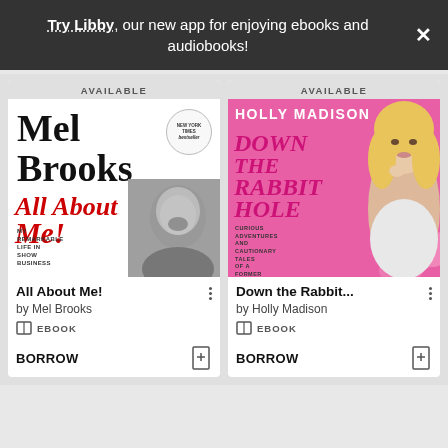Try Libby, our new app for enjoying ebooks and audiobooks!
[Figure (illustration): Book cover: Mel Brooks All About Me! My Remarkable Life in Show Business. New York Times Bestseller badge. Black and white photo of Mel Brooks laughing.]
[Figure (illustration): Book cover: Holly Madison Down the Rabbit Hole. Curious Adventures and Cautionary Tales of a Former Playboy Bunny. Pink background with Holly Madison posing.]
All About Me!
by Mel Brooks
EBOOK
BORROW
Down the Rabbit...
by Holly Madison
EBOOK
BORROW